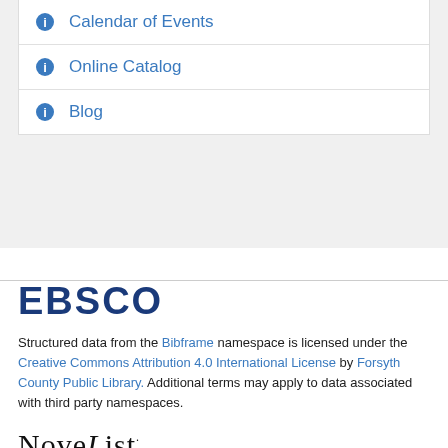Calendar of Events
Online Catalog
Blog
[Figure (logo): EBSCO logo in dark navy bold text]
Structured data from the Bibframe namespace is licensed under the Creative Commons Attribution 4.0 International License by Forsyth County Public Library. Additional terms may apply to data associated with third party namespaces.
[Figure (logo): NoveList logo in serif font with decorative script L]